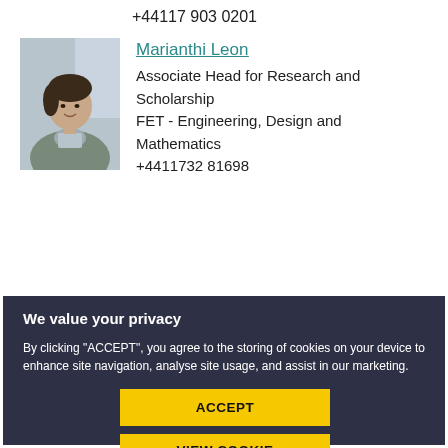+44117 903 0201
Marianthi Leon
Associate Head for Research and Scholarship
FET - Engineering, Design and Mathematics
+4411732 81698
[Figure (photo): Headshot photo of Marianthi Leon, a woman with dark hair pulled back, wearing a grey sweater and light blue top, smiling]
We value your privacy

By clicking "ACCEPT", you agree to the storing of cookies on your device to enhance site navigation, analyse site usage, and assist in our marketing.

ACCEPT

VIEW COOKIE SETTINGS